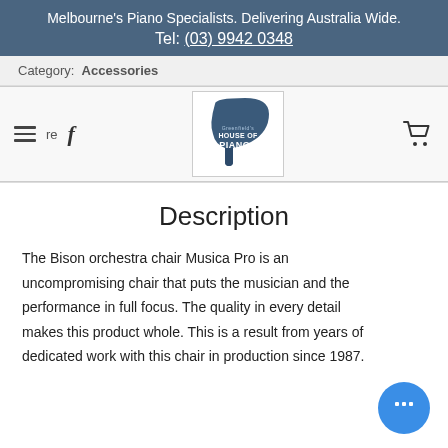Melbourne's Piano Specialists. Delivering Australia Wide.
Tel: (03) 9942 0348
Category: Accessories
[Figure (logo): House of Pianos logo with grand piano silhouette and text 'HOUSE OF PIANOS']
Description
The Bison orchestra chair Musica Pro is an uncompromising chair that puts the musician and the performance in full focus. The quality in every detail makes this product whole. This is a result from years of dedicated work with this chair in production since 1987.